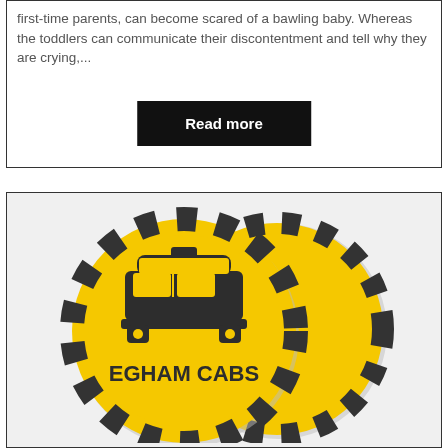first-time parents, can become scared of a bawling baby. Whereas the toddlers can communicate their discontentment and tell why they are crying,...
Read more
[Figure (logo): Egham Cabs logo: a yellow circle with black and yellow checkered border, featuring a taxi car icon and the text EGHAM CABS]